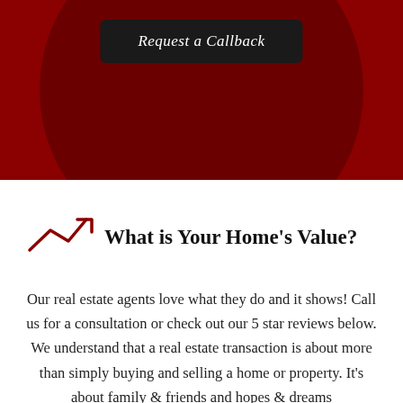[Figure (screenshot): Dark red hero banner with a darker circular shape in the background and a dark button labeled 'Request a Callback']
What is Your Home's Value?
Our real estate agents love what they do and it shows! Call us for a consultation or check out our 5 star reviews below. We understand that a real estate transaction is about more than simply buying and selling a home or property. It's about family & friends and hopes & dreams